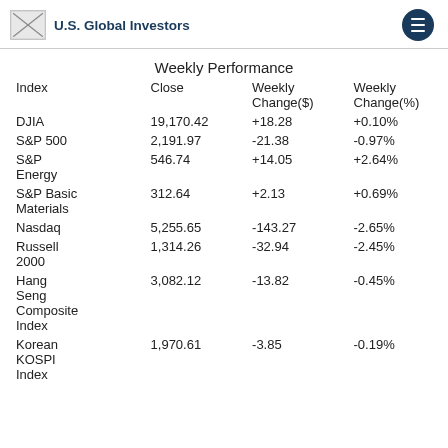U.S. Global Investors
Weekly Performance
| Index | Close | Weekly Change($) | Weekly Change(%) |
| --- | --- | --- | --- |
| DJIA | 19,170.42 | +18.28 | +0.10% |
| S&P 500 | 2,191.97 | -21.38 | -0.97% |
| S&P Energy | 546.74 | +14.05 | +2.64% |
| S&P Basic Materials | 312.64 | +2.13 | +0.69% |
| Nasdaq | 5,255.65 | -143.27 | -2.65% |
| Russell 2000 | 1,314.26 | -32.94 | -2.45% |
| Hang Seng Composite Index | 3,082.12 | -13.82 | -0.45% |
| Korean KOSPI Index | 1,970.61 | -3.85 | -0.19% |